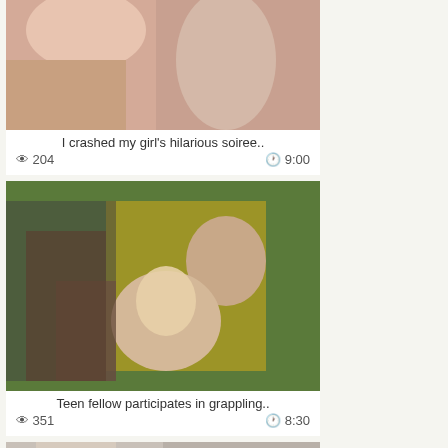[Figure (photo): Video thumbnail showing close-up skin tones, partial top crop]
I crashed my girl's hilarious soiree..
👁 204   🕐 9:00
[Figure (photo): Video thumbnail showing people on a green and yellow mat in a gym setting]
Teen fellow participates in grappling..
👁 351   🕐 8:30
[Figure (photo): Video thumbnail showing a woman's face, partially visible, bottom crop]